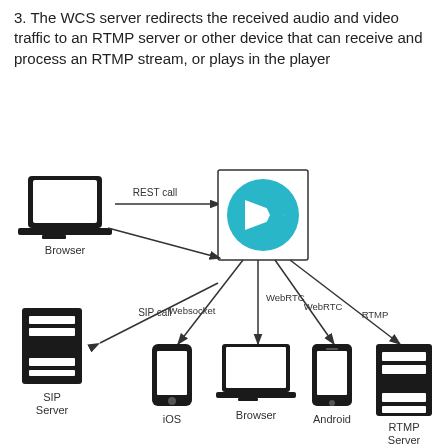3. The WCS server redirects the received audio and video traffic to an RTMP server or other device that can receive and process an RTMP stream, or plays in the player
[Figure (network-graph): Network diagram showing a Browser sending a REST call to a WCS server (depicted with a teal logo), a SIP Server connected via SIP call, and the WCS server distributing via Websocket to iOS, WebRTC to Browser, WebRTC to Android, and RTMP to RTMP Server.]